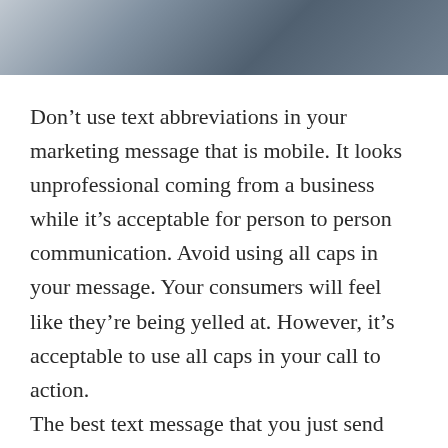[Figure (photo): Cropped top portion of a photo showing people near a white car, partially visible]
Don't use text abbreviations in your marketing message that is mobile. It looks unprofessional coming from a business while it's acceptable for person to person communication. Avoid using all caps in your message. Your consumers will feel like they're being yelled at. However, it's acceptable to use all caps in your call to action.
The best text message that you just send will be non-commercial related. They have links to your customers which will be valuable and will be brief. Keep your texts